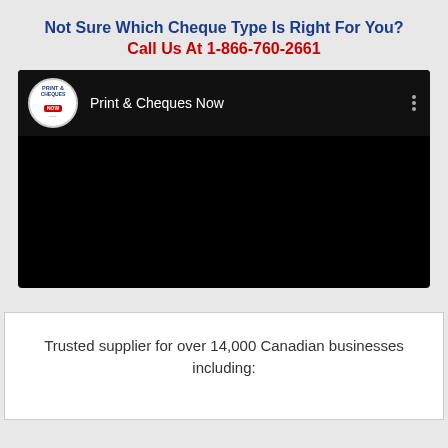Not Sure Which Cheque Type Is Right For You?
Call Us At 1-866-760-2661
[Figure (screenshot): YouTube-style video embed showing 'Print & Cheques Now' channel. Video area is black with channel logo (circular icon with PRINT & CHEQUES NOW text) and channel name on top bar. Three-dot menu visible top right.]
Trusted supplier for over 14,000 Canadian businesses including: